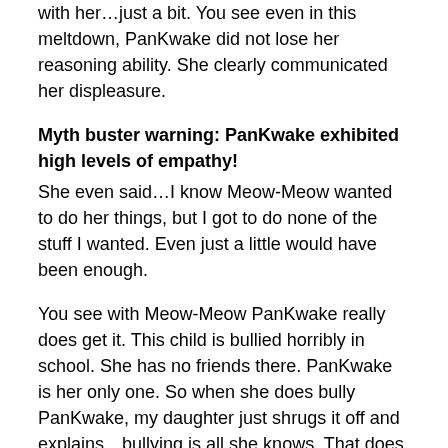with her…just a bit. You see even in this meltdown, PanKwake did not lose her reasoning ability. She clearly communicated her displeasure.
Myth buster warning: PanKwake exhibited high levels of empathy!
She even said…I know Meow-Meow wanted to do her things, but I got to do none of the stuff I wanted. Even just a little would have been enough.
You see with Meow-Meow PanKwake really does get it. This child is bullied horribly in school. She has no friends there. PanKwake is her only one. So when she does bully PanKwake, my daughter just shrugs it off and explains…bullying is all she knows. That does not bother her.
But as she said…not getting to do ANYTHING she wanted…well, that would be a strain on us neurotypicals